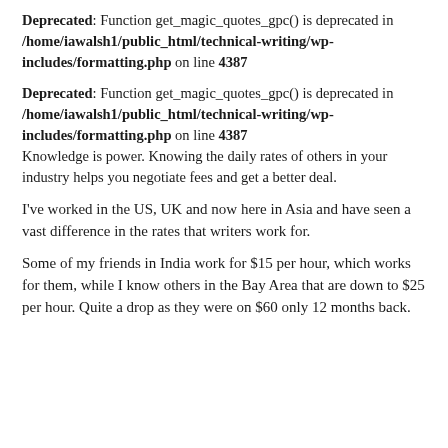Deprecated: Function get_magic_quotes_gpc() is deprecated in /home/iawalsh1/public_html/technical-writing/wp-includes/formatting.php on line 4387
Deprecated: Function get_magic_quotes_gpc() is deprecated in /home/iawalsh1/public_html/technical-writing/wp-includes/formatting.php on line 4387
Knowledge is power. Knowing the daily rates of others in your industry helps you negotiate fees and get a better deal.
I've worked in the US, UK and now here in Asia and have seen a vast difference in the rates that writers work for.
Some of my friends in India work for $15 per hour, which works for them, while I know others in the Bay Area that are down to $25 per hour. Quite a drop as they were on $60 only 12 months back.